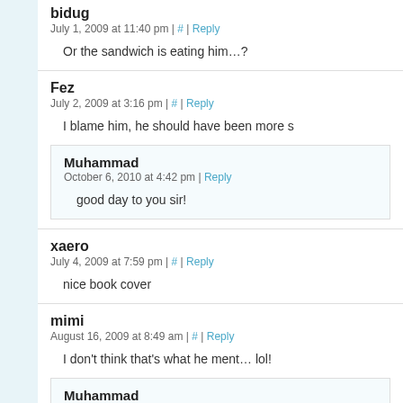bidug
July 1, 2009 at 11:40 pm | # | Reply
Or the sandwich is eating him…?
Fez
July 2, 2009 at 3:16 pm | # | Reply
I blame him, he should have been more s
Muhammad
October 6, 2010 at 4:42 pm | Reply
good day to you sir!
xaero
July 4, 2009 at 7:59 pm | # | Reply
nice book cover
mimi
August 16, 2009 at 8:49 am | # | Reply
I don't think that's what he ment… lol!
Muhammad
October 6, 2010 at 4:42 pm | Reply
no shit?